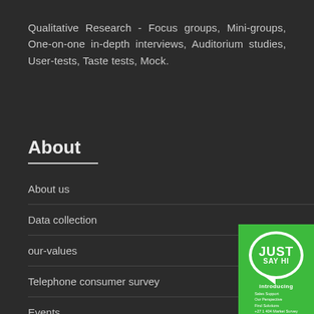Qualitative Research - Focus groups, Mini-groups, One-on-one in-depth interviews, Auditorium studies, User-tests, Taste tests, Mock.
About
About us
Data collection
our-values
Telephone consumer survey
Events
Market Research Company
[Figure (logo): Green badge with speech bubble circle containing 'JUST SAY HI' text and 'introducing' text below with small contact details]